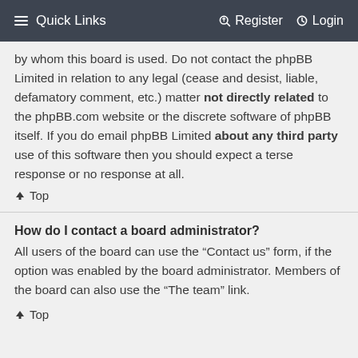Quick Links   Register   Login
by whom this board is used. Do not contact the phpBB Limited in relation to any legal (cease and desist, liable, defamatory comment, etc.) matter not directly related to the phpBB.com website or the discrete software of phpBB itself. If you do email phpBB Limited about any third party use of this software then you should expect a terse response or no response at all.
↑ Top
How do I contact a board administrator?
All users of the board can use the “Contact us” form, if the option was enabled by the board administrator. Members of the board can also use the “The team” link.
↑ Top